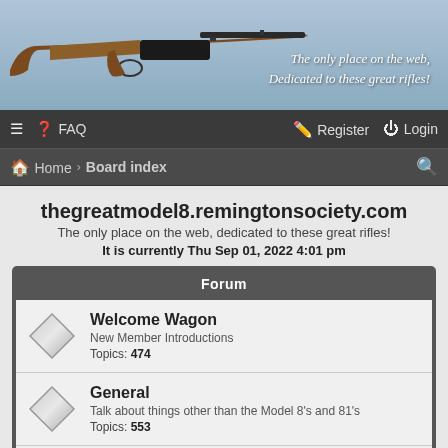[Figure (photo): Banner image of a Remington rifle on a blue-grey gradient background with italic white text: 'The only place on the web, Dedicated to these great rifles!']
≡  ? FAQ    Register  Login
Home › Board index  🔍
thegreatmodel8.remingtonsociety.com
The only place on the web, dedicated to these great rifles!
It is currently Thu Sep 01, 2022 4:01 pm
| Forum |
| --- |
| Welcome Wagon | New Member Introductions | Topics: 474 |
| General | Talk about things other than the Model 8's and 81's | Topics: 553 |
| Q & A about the 8/81 | Ask about your Model 8 & 81 | Topics: 575 |
| Troubleshooting / Maintenance | Information on Malfunctions and Care of your Model 8 & 81 |  |